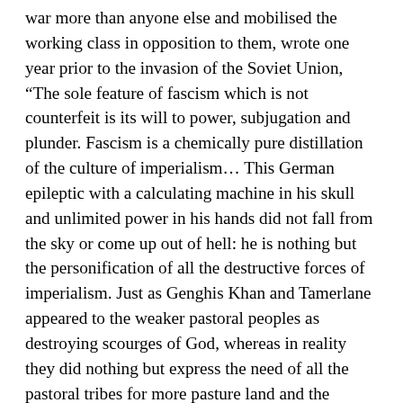war more than anyone else and mobilised the working class in opposition to them, wrote one year prior to the invasion of the Soviet Union, “The sole feature of fascism which is not counterfeit is its will to power, subjugation and plunder. Fascism is a chemically pure distillation of the culture of imperialism… This German epileptic with a calculating machine in his skull and unlimited power in his hands did not fall from the sky or come up out of hell: he is nothing but the personification of all the destructive forces of imperialism. Just as Genghis Khan and Tamerlane appeared to the weaker pastoral peoples as destroying scourges of God, whereas in reality they did nothing but express the need of all the pastoral tribes for more pasture land and the plunder of settled areas, so Hitler, rocking the old colonial powers to their foundations, does nothing but give a more finished expression to the imperialist will to power. Through Hitler, world capitalism, driven to desperation by its own impasse, has begun to press a razor sharp dagger into its